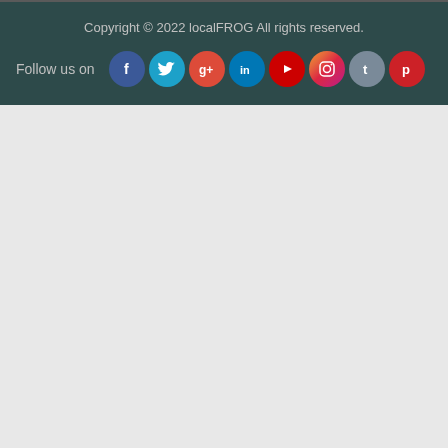Copyright © 2022 localFROG All rights reserved.
Follow us on
[Figure (infographic): Social media icons row: Facebook (blue), Twitter (cyan/teal), Google+ (red), LinkedIn (blue), YouTube (red), Instagram (purple/gradient), Tumblr (gray-blue), Pinterest (red)]